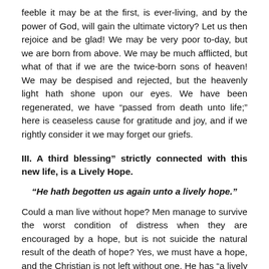feeble it may be at the first, is ever-living, and by the power of God, will gain the ultimate victory? Let us then rejoice and be glad! We may be very poor to-day, but we are born from above. We may be much afflicted, but what of that if we are the twice-born sons of heaven! We may be despised and rejected, but the heavenly light hath shone upon our eyes. We have been regenerated, we have “passed from death unto life;” here is ceaseless cause for gratitude and joy, and if we rightly consider it we may forget our griefs.
III. A third blessing” strictly connected with this new life, is a Lively Hope.
“He hath begotten us again unto a lively hope.”
Could a man live without hope? Men manage to survive the worst condition of distress when they are encouraged by a hope, but is not suicide the natural result of the death of hope? Yes, we must have a hope, and the Christian is not left without one. He has “a lively hope,” that is to say, first, he has a hope within him, real, true, and operative. Some men’s hopes of